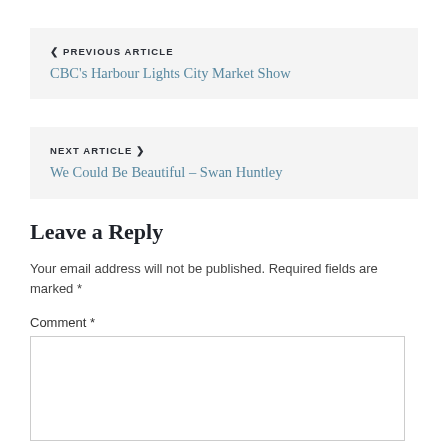◄ PREVIOUS ARTICLE
CBC's Harbour Lights City Market Show
NEXT ARTICLE ►
We Could Be Beautiful – Swan Huntley
Leave a Reply
Your email address will not be published. Required fields are marked *
Comment *